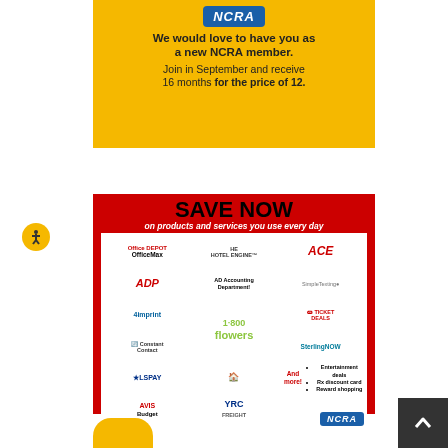[Figure (infographic): NCRA membership ad on yellow background. Logo badge says NCRA. Text: 'We would love to have you as a new NCRA member. Join in September and receive 16 months for the price of 12.']
[Figure (infographic): SAVE NOW on products and services you use every day. Red background ad with logos: Office Depot/OfficeMax, ADP, 4imprint, Constant Contact, LSPAY, AVIS/Budget, HotelEngine, Accounting Department, 1-800-Flowers, Home Depot, YRC Freight, ACE, SimpleTexting, Ticket Deals, SterlingNOW, And more (Entertainment deals, Rx discount card, Reward shopping). NCRA badge at bottom right.]